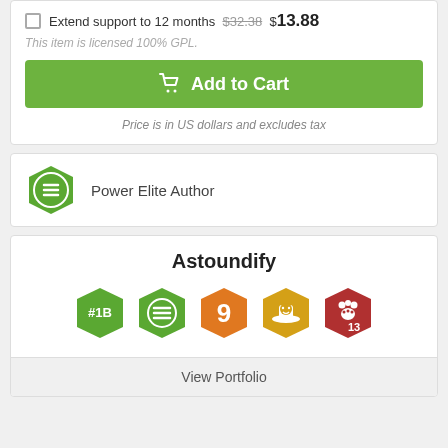Extend support to 12 months $32.38 $13.88
This item is licensed 100% GPL.
Add to Cart
Price is in US dollars and excludes tax
Power Elite Author
Astoundify
[Figure (infographic): Five hexagonal achievement badges: green badge with 1B, green badge with lines icon, orange badge with 9, yellow/gold badge with cowboy/sheriff icon, red badge with paw print and 13]
View Portfolio